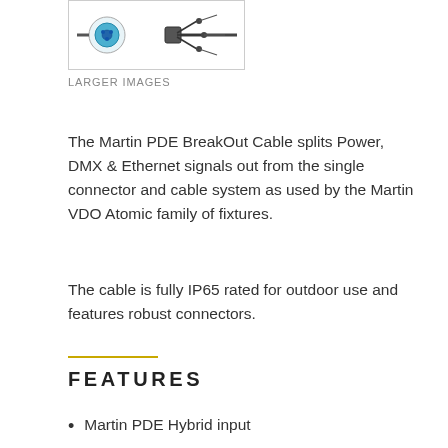[Figure (photo): Product image showing Martin PDE BreakOut Cable connectors — a blue circular connector and black multi-wire breakout connectors on white background]
LARGER IMAGES
The Martin PDE BreakOut Cable splits Power, DMX & Ethernet signals out from the single connector and cable system as used by the Martin VDO Atomic family of fixtures.
The cable is fully IP65 rated for outdoor use and features robust connectors.
FEATURES
Martin PDE Hybrid input